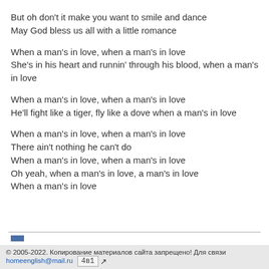But oh don't it make you want to smile and dance
May God bless us all with a little romance
When a man's in love, when a man's in love
She's in his heart and runnin' through his blood, when a man's in love
When a man's in love, when a man's in love
He'll fight like a tiger, fly like a dove when a man's in love
When a man's in love, when a man's in love
There ain't nothing he can't do
When a man's in love, when a man's in love
Oh yeah, when a man's in love, a man's in love
When a man's in love
© 2005-2022. Копирование материалов сайта запрещено! Для связи homeenglish@mail.ru 4в1